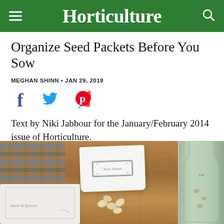Horticulture
Organize Seed Packets Before You Sow
MEGHAN SHINN • JAN 29, 2019
[Figure (other): Social sharing icons: Facebook (f), Twitter (bird), Pinterest (P)]
Text by Niki Jabbour for the January/February 2014 issue of Horticulture.
[Figure (photo): Photo of seed packets, fabric, seeds, and a glass bottle arranged on a wooden surface]